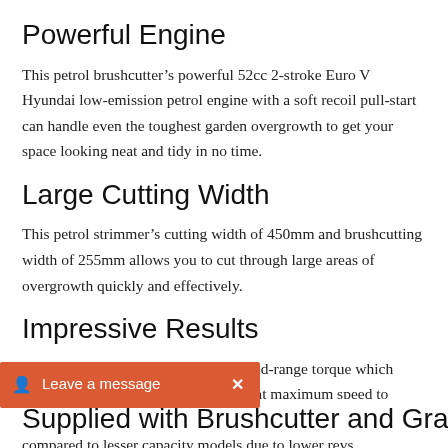Powerful Engine
This petrol brushcutter’s powerful 52cc 2-stroke Euro V Hyundai low-emission petrol engine with a soft recoil pull-start can handle even the toughest garden overgrowth to get your space looking neat and tidy in no time.
Large Cutting Width
This petrol strimmer’s cutting width of 450mm and brushcutting width of 255mm allows you to cut through large areas of overgrowth quickly and effectively.
Impressive Results
This garden strimmer’s boasts high mid-range torque which means you dont have to be revving it at maximum speed to achieve impressive results, prolonging the engine lifespan when compared to lesser capacity models due to lower revs.
Supplied with Brushcutter and Grass